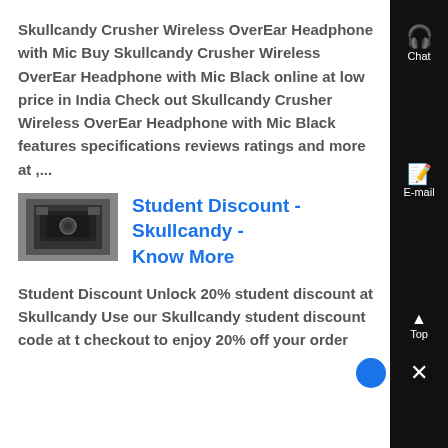Skullcandy Crusher Wireless OverEar Headphone with Mic Buy Skullcandy Crusher Wireless OverEar Headphone with Mic Black online at low price in India Check out Skullcandy Crusher Wireless OverEar Headphone with Mic Black features specifications reviews ratings and more at ,...
[Figure (photo): Thumbnail image of Skullcandy product box/headphone]
Student Discount - Skullcandy - Know More
Student Discount Unlock 20% student discount at Skullcandy Use our Skullcandy student discount code at checkout to enjoy 20% off your order